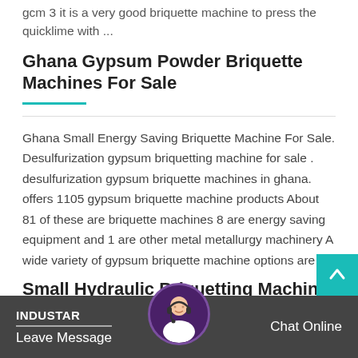gcm 3 it is a very good briquette machine to press the quicklime with ...
Ghana Gypsum Powder Briquette Machines For Sale
Ghana Small Energy Saving Briquette Machine For Sale. Desulfurization gypsum briquetting machine for sale . desulfurization gypsum briquette machines in ghana. offers 1105 gypsum briquette machine products About 81 of these are briquette machines 8 are energy saving equipment and 1 are other metal metallurgy machinery A wide variety of gypsum briquette machine options are ...
Small Hydraulic Briquetting Machine In Ghana
INDUSTAR  Leave Message  Chat Online